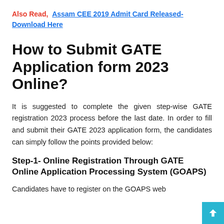Also Read,  Assam CEE 2019 Admit Card Released- Download Here
How to Submit GATE Application form 2023 Online?
It is suggested to complete the given step-wise GATE registration 2023 process before the last date. In order to fill and submit their GATE 2023 application form, the candidates can simply follow the points provided below:
Step-1- Online Registration Through GATE Online Application Processing System (GOAPS)
Candidates have to register on the GOAPS web